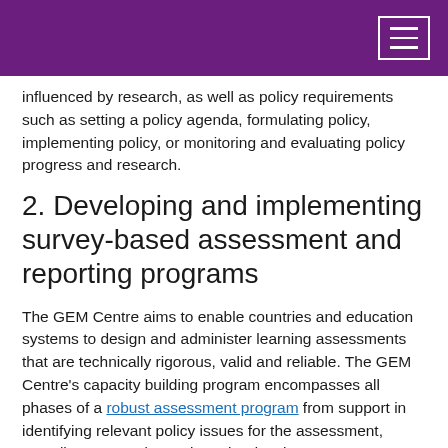influenced by research, as well as policy requirements such as setting a policy agenda, formulating policy, implementing policy, or monitoring and evaluating policy progress and research.
2. Developing and implementing survey-based assessment and reporting programs
The GEM Centre aims to enable countries and education systems to design and administer learning assessments that are technically rigorous, valid and reliable. The GEM Centre's capacity building program encompasses all phases of a robust assessment program from support in identifying relevant policy issues for the assessment, sampling, test and questionnaire development, survey implementation, data processing to statistical analysis, reporting and dissemination.